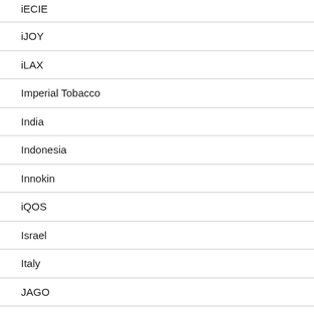iECIE
iJOY
iLAX
Imperial Tobacco
India
Indonesia
Innokin
iQOS
Israel
Italy
JAGO
Japan